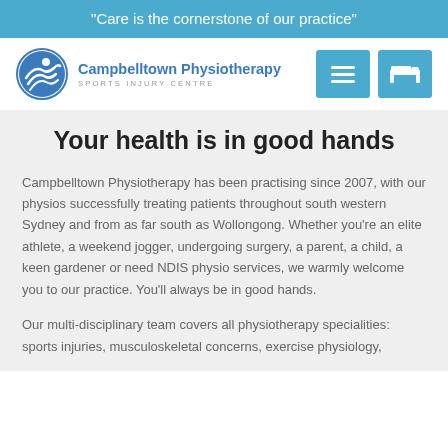"Care is the cornerstone of our practice"
[Figure (logo): Campbelltown Physiotherapy Sports Injury Centre logo with circular emblem and text]
Your health is in good hands
Campbelltown Physiotherapy has been practising since 2007, with our physios successfully treating patients throughout south western Sydney and from as far south as Wollongong. Whether you're an elite athlete, a weekend jogger, undergoing surgery, a parent, a child, a keen gardener or need NDIS physio services, we warmly welcome you to our practice. You'll always be in good hands.
Our multi-disciplinary team covers all physiotherapy specialities: sports injuries, musculoskeletal concerns, exercise physiology,